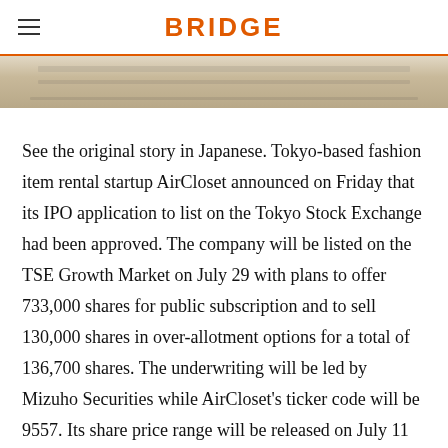BRIDGE
[Figure (photo): Partial image strip showing what appears to be a light-colored flat lay or table surface, cropped at the top of the article.]
See the original story in Japanese. Tokyo-based fashion item rental startup AirCloset announced on Friday that its IPO application to list on the Tokyo Stock Exchange had been approved. The company will be listed on the TSE Growth Market on July 29 with plans to offer 733,000 shares for public subscription and to sell 130,000 shares in over-allotment options for a total of 136,700 shares. The underwriting will be led by Mizuho Securities while AirCloset's ticker code will be 9557. Its share price range will be released on July 11 with bookbuilding scheduled to start on July 12 and pricing on July 19. The final public offering price will be determined on July 20. Base d on the